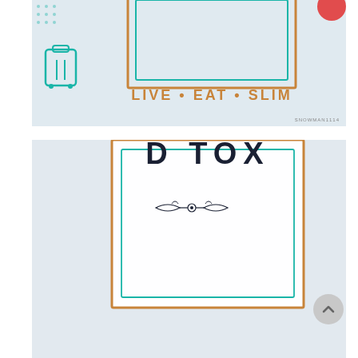[Figure (photo): Top cropped photo showing a decorative sign reading 'LIVE • EAT • SLIM' in orange text with teal/gold border, with small travel icons on a white/light blue background. Watermark 'SNOWMAN1114' in bottom right.]
[Figure (photo): Larger photo of a decorative sign reading 'D TOX' (partially cropped at top), with ornamental divider below, then 'LIVE • EAT • SLIM' in orange. Icons include teal suitcase, pink measuring tape, black chevrons/arrows. Dot pattern on left side. Watermark 'SNOWMAN1114' bottom right.]
Passion D'tox
Live • Eat • Slim